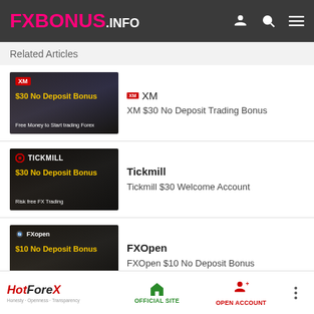FXBONUS.INFO
Related Articles
[Figure (illustration): XM broker thumbnail: $30 No Deposit Bonus - Free Money to Start trading Forex]
XM
XM $30 No Deposit Trading Bonus
[Figure (illustration): Tickmill broker thumbnail: $30 No Deposit Bonus - Risk free FX Trading]
Tickmill
Tickmill $30 Welcome Account
[Figure (illustration): FXOpen broker thumbnail: $10 No Deposit Bonus - Free Money to Start trading Forex]
FXOpen
FXOpen $10 No Deposit Bonus
[Figure (illustration): FXOpen partial thumbnail (fourth article, cut off at bottom)]
HotForex | OFFICIAL SITE | OPEN ACCOUNT